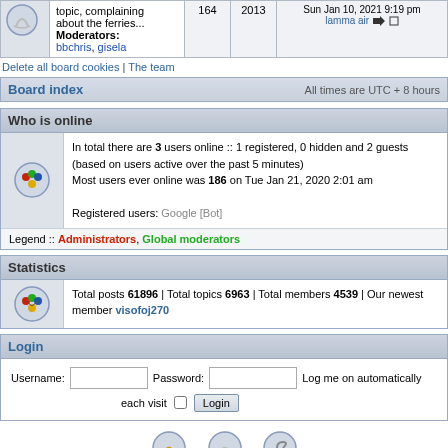|  | Description | Posts | Topics | Last post |
| --- | --- | --- | --- | --- |
|  | topic, complaining about the ferries...
Moderators: bbchris, gisela | 164 | 2013 | Sun Jan 10, 2021 9:19 pm
lamma air |
Delete all board cookies | The team
| Board index | All times are UTC + 8 hours |
| --- | --- |
Who is online
In total there are 3 users online :: 1 registered, 0 hidden and 2 guests (based on users active over the past 5 minutes)
Most users ever online was 186 on Tue Jan 21, 2020 2:01 am
Registered users: Google [Bot]
Legend :: Administrators, Global moderators
Statistics
Total posts 61896 | Total topics 6963 | Total members 4539 | Our newest member visofoj270
Login
Username: [input] Password: [input] Log me on automatically each visit [checkbox] Login
Unread posts | No unread posts | Forum locked
Powered by phpBB® Forum Software © phpBB Group